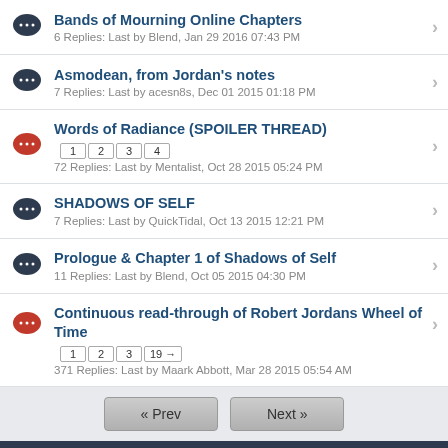Bands of Mourning Online Chapters — 6 Replies: Last by Blend, Jan 29 2016 07:43 PM
Asmodean, from Jordan's notes — 7 Replies: Last by acesn8s, Dec 01 2015 01:18 PM
Words of Radiance (SPOILER THREAD) [1][2][3][4] — 72 Replies: Last by Mentalist, Oct 28 2015 05:24 PM
SHADOWS OF SELF — 7 Replies: Last by QuickTidal, Oct 13 2015 12:21 PM
Prologue & Chapter 1 of Shadows of Self — 11 Replies: Last by Blend, Oct 05 2015 04:30 PM
Continuous read-through of Robert Jordans Wheel of Time [1][2][3][19→] — 371 Replies: Last by Maark Abbott, Mar 28 2015 05:54 AM
Full Version Search · Mark Board As Read · Back To Top
Get the free IP.Board App for iPhone now!